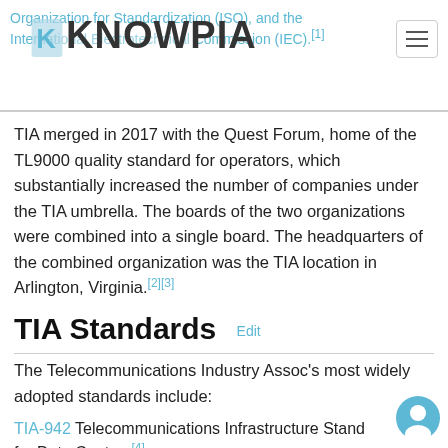Organization for Standardization (ISO), and the International Electrotechnical Commission (IEC).[1]  KNOWPIA
TIA merged in 2017 with the Quest Forum, home of the TL9000 quality standard for operators, which substantially increased the number of companies under the TIA umbrella. The boards of the two organizations were combined into a single board. The headquarters of the combined organization was the TIA location in Arlington, Virginia.[2][3]
TIA Standards  Edit
The Telecommunications Industry Assoc's most widely adopted standards include:
TIA-942 Telecommunications Infrastructure Standard for Data Centers[4]
TIA-568 (telecommunications cabling standards, used[5]